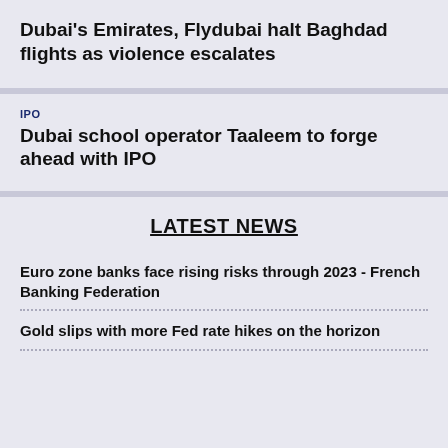Dubai's Emirates, Flydubai halt Baghdad flights as violence escalates
IPO
Dubai school operator Taaleem to forge ahead with IPO
LATEST NEWS
Euro zone banks face rising risks through 2023 - French Banking Federation
Gold slips with more Fed rate hikes on the horizon